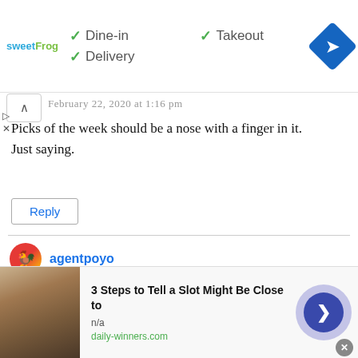[Figure (screenshot): Top bar with sweetFrog logo, dine-in/takeout/delivery checkmarks, and navigation icon]
February 22, 2020 at 1:16 pm
Picks of the week should be a nose with a finger in it. Just saying.
Reply
agentpoyo
February 22, 2020 at 6:14 pm
[Figure (screenshot): Advertisement banner: 3 Steps to Tell a Slot Might Be Close to, n/a, daily-winners.com]